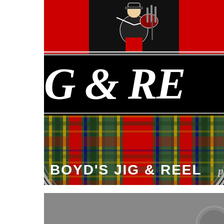[Figure (logo): Boyd's Jig & Reel logo. Black background with white stylized text 'G & RE' (part of 'JIG & REEL') in large italic serif font. Top section shows a bagpiper illustration on a red banner background. Middle section has a large circular emblem with Scottish tartan (red, green, yellow, dark plaid pattern) inside. Bottom of the logo reads 'BOYD'S JIG & REEL' in bold white uppercase sans-serif text, with additional script text partially visible on the right side.]
[Figure (photo): Partial view of a second image at the bottom of the page — a dark gray/charcoal background with a partial circular logo or badge visible at the right edge.]